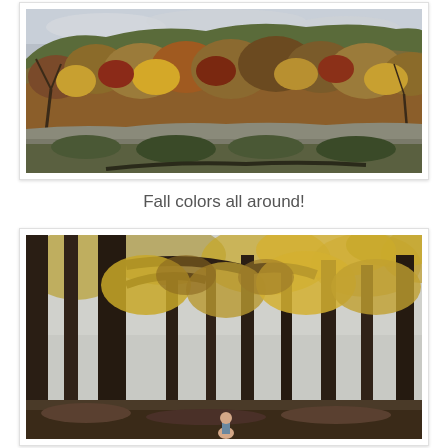[Figure (photo): Autumn hilltop landscape with fall-colored trees (reds, oranges, yellows, browns) against an overcast sky, rocky hillside visible in the foreground.]
Fall colors all around!
[Figure (photo): Forest scene with tall bare-trunked trees and golden autumn leaves, a small person visible in the lower center of the image.]